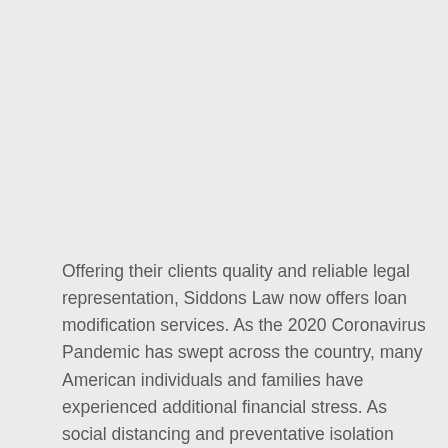Offering their clients quality and reliable legal representation, Siddons Law now offers loan modification services. As the 2020 Coronavirus Pandemic has swept across the country, many American individuals and families have experienced additional financial stress. As social distancing and preventative isolation closed businesses and affected jobs, debt and financial